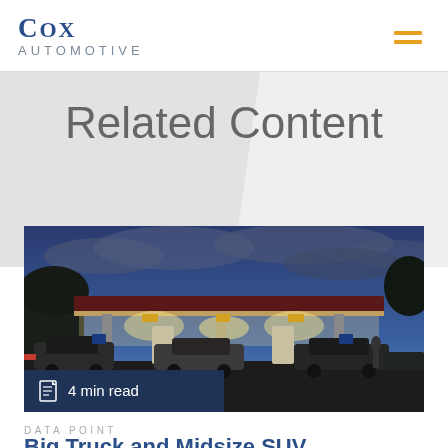Cox Automotive
Related Content
[Figure (photo): Gas station at dusk/night with illuminated canopy, cars visible underneath, blue cloudy sky in background. Overlay shows '4 min read' with a document icon.]
DATA POINT
Big Truck and Midsize SUV